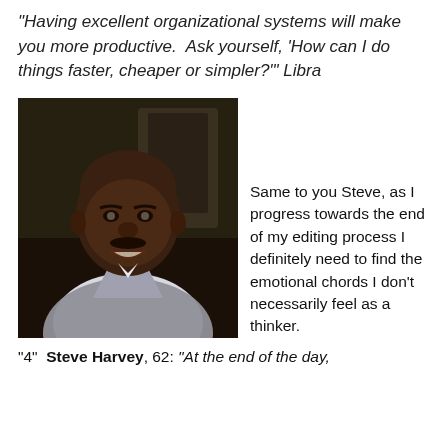“Having excellent organizational systems will make you more productive.  Ask yourself, ‘How can I do things faster, cheaper or simpler?’” Libra
[Figure (photo): Portrait photo of a man (Steve Harvey) in a grey blazer, smiling, dark background]
Same to you Steve, as I progress towards the end of my editing process I definitely need to find the emotional chords I don’t necessarily feel as a thinker.
“4”  Steve Harvey, 62: “At the end of the day,